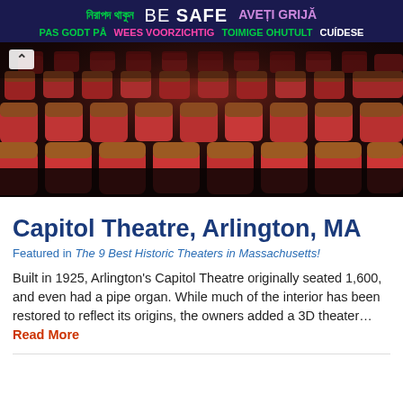নিরাপদ থাকুন  BE SAFE  AVEȚI GRIJĂ  PAS GODT PÅ  WEES VOORZICHTIG  TOIMIGE OHUTULT  CUÍDESE
[Figure (photo): Interior of a theater showing rows of red upholstered wooden chairs/seats from behind, viewed from a slightly elevated angle. The seats are classic theater-style with ornate wooden frames.]
Capitol Theatre, Arlington, MA
Featured in The 9 Best Historic Theaters in Massachusetts!
Built in 1925, Arlington's Capitol Theatre originally seated 1,600, and even had a pipe organ. While much of the interior has been restored to reflect its origins, the owners added a 3D theater… Read More